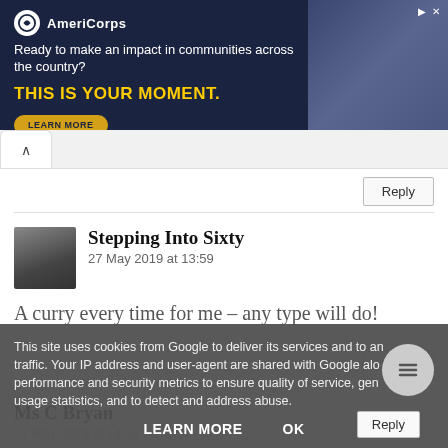[Figure (other): AmeriCorps advertisement banner with dark navy background. Logo top left. Text: 'Ready to make an impact in communities across the country?' and 'THIS IS YOUR MOMENT.' with a LEARN MORE button. Photo of people on the right side.]
Reply
Stepping Into Sixty
27 May 2019 at 13:59
A curry every time for me - any type will do!
Reply
Ms C Bryan
27 May 2019 at 14:01
This site uses cookies from Google to deliver its services and to analyze traffic. Your IP address and user-agent are shared with Google along with performance and security metrics to ensure quality of service, generate usage statistics, and to detect and address abuse.
LEARN MORE
OK